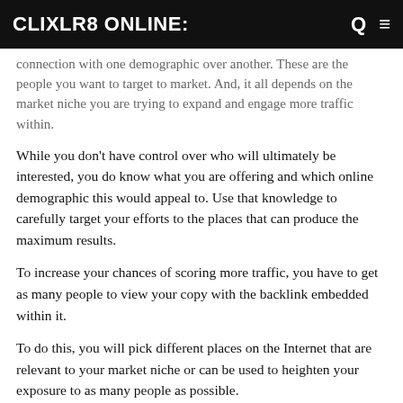CLIXLR8 ONLINE:
connection with one demographic over another. These are the people you want to target to market. And, it all depends on the market niche you are trying to expand and engage more traffic within.
While you don't have control over who will ultimately be interested, you do know what you are offering and which online demographic this would appeal to. Use that knowledge to carefully target your efforts to the places that can produce the maximum results.
To increase your chances of scoring more traffic, you have to get as many people to view your copy with the backlink embedded within it.
To do this, you will pick different places on the Internet that are relevant to your market niche or can be used to heighten your exposure to as many people as possible.